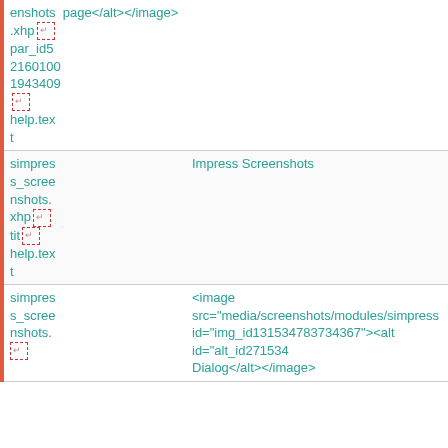| File | Content |
| --- | --- |
| enshots page</alt></antml:image>
.xhp[↵]
par_id5
2160100
1943409
[↵]
help.text |  |
| simpress_screenshots.xhp[↵]
tit[↵]
help.text | Impress Screenshots |
| simpress_screenshots. | <image src="media/screenshots/modules/simpress
id="img_id131534783734367"><alt id="alt_id271534
Dialog</alt></antml:image> |